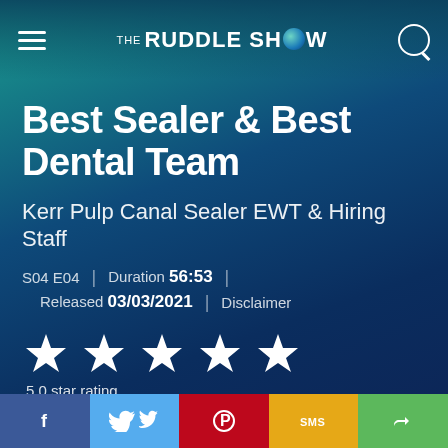THE RUDDLE SHOW
Best Sealer & Best Dental Team
Kerr Pulp Canal Sealer EWT & Hiring Staff
S04 E04 | Duration 56:53 | Released 03/03/2021 | Disclaimer
[Figure (other): 5-star rating display with 5 white stars and text '5.0 star rating']
An unknown error occurred
f | Twitter | Pinterest | SMS | Share